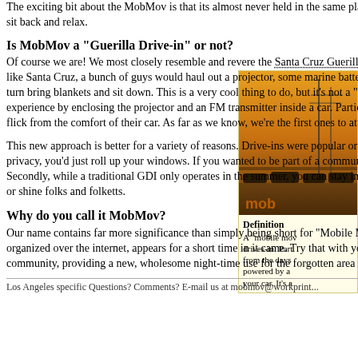The exciting bit about the MobMov is that its almost never held in the same place twice. Plug in to the station specified at the beginning of the film, and then sit back and relax.
Is MobMov a "Guerilla Drive-in" or not?
Of course we are! We most closely resemble and revere the Santa Cruz Guerilla Drive-in. But we've gone beyond that original concept. In a traditional GDI like Santa Cruz, a bunch of guys would haul out a projector, some marine batteries, a screen, and some speakers to a park. Everyone in the know would in turn bring blankets and sit down. This is a very cool thing to do, but it's not a "drive-in" in most senses of the term. Our goal was to create a true "drive-in" experience by enclosing the projector and an FM transmitter inside a car. Participants drive in to a parking lot, tune their radios, and watch their favorite flick from the comfort of their car. As far as we know, we're the first ones to attempt this (or not).
This new approach is better for a variety of reasons. Drive-ins were popular originally because it was like having your own private cineplex - if you wanted privacy, you'd just roll up your windows. If you wanted to be part of a community, you'd roll them down, open your doors, maybe even walk around. Secondly, while a traditional GDI only operates in the summer, you can stay in your car with the heater running while participating in a mobmov. That's rain or shine folks and folketts.
[Figure (photo): Photo of a drive-in parking lot at dusk with cars lined up, and 'mob' text visible at bottom]
Definition: A "mobile movie" drives-in. Part from the days powered by a your car. It's a
Why do you call it MobMov?
Our name contains far more significance than simply being short for "Mobile Movie". Mob: much like Flashmob and similar movements, the MobMov is organized over the internet, appears for a short time in it came. Try that with your parents' drive-in! Movement: we like to think of ourselves to the community, providing a new, wholesome night-time use for the forgotten area